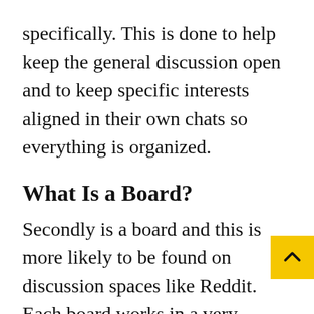specifically. This is done to help keep the general discussion open and to keep specific interests aligned in their own chats so everything is organized.
What Is a Board?
Secondly is a board and this is more likely to be found on discussion spaces like Reddit. Each board works in a very similar way to a room, except the entirety of the discussion on the topic takes place there, there are no sub-chats within the board. Daytrading chatrooms from membership groups likely won't have boa but it's good to know if you're looking for free